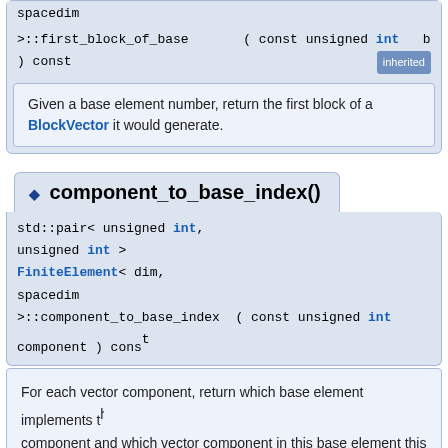spacedim
>:: first_block_of_base ( const unsigned int b ) const [inherited]
Given a base element number, return the first block of a BlockVector it would generate.
◆ component_to_base_index()
std::pair< unsigned int, unsigned int > FiniteElement< dim, spacedim >::component_to_base_index ( const unsigned int component ) const
For each vector component, return which base element implements this component and which vector component in this base element this is. This information is only of interest for vector-valued finite elements which are composed of several sub-elements. In that case, one may want to ob